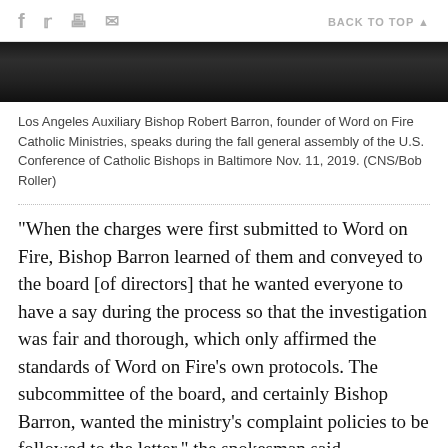f  [twitter]  [print]  [mail]    BACK TO TOP ▲
[Figure (photo): Partial photo of Los Angeles Auxiliary Bishop Robert Barron, dark background]
Los Angeles Auxiliary Bishop Robert Barron, founder of Word on Fire Catholic Ministries, speaks during the fall general assembly of the U.S. Conference of Catholic Bishops in Baltimore Nov. 11, 2019. (CNS/Bob Roller)
"When the charges were first submitted to Word on Fire, Bishop Barron learned of them and conveyed to the board [of directors] that he wanted everyone to have a say during the process so that the investigation was fair and thorough, which only affirmed the standards of Word on Fire's own protocols. The subcommittee of the board, and certainly Bishop Barron, wanted the ministry's complaint policies to be followed to the letter," the spokesman said.
According to an Oct. 11, 2021, letter sent from Davis